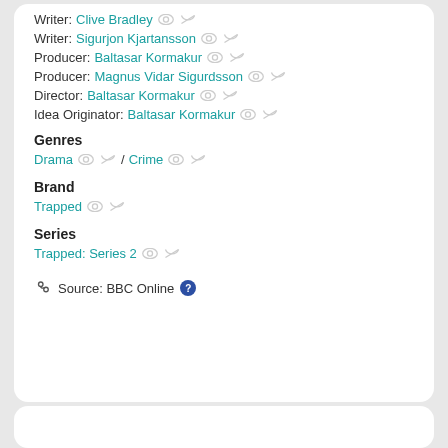Writer: Clive Bradley
Writer: Sigurjon Kjartansson
Producer: Baltasar Kormakur
Producer: Magnus Vidar Sigurdsson
Director: Baltasar Kormakur
Idea Originator: Baltasar Kormakur
Genres
Drama / Crime
Brand
Trapped
Series
Trapped: Series 2
Source: BBC Online